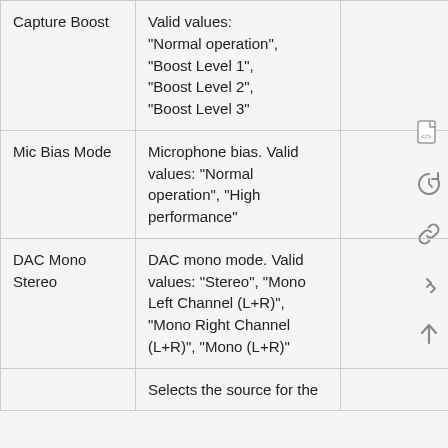|  |  |  |
| --- | --- | --- |
| Capture Boost | Valid values: "Normal operation", "Boost Level 1", "Boost Level 2", "Boost Level 3" |  |
| Mic Bias Mode | Microphone bias. Valid values: "Normal operation", "High performance" |  |
| DAC Mono Stereo | DAC mono mode. Valid values: "Stereo", "Mono Left Channel (L+R)", "Mono Right Channel (L+R)", "Mono (L+R)" |  |
|  | Selects the source for the |  |